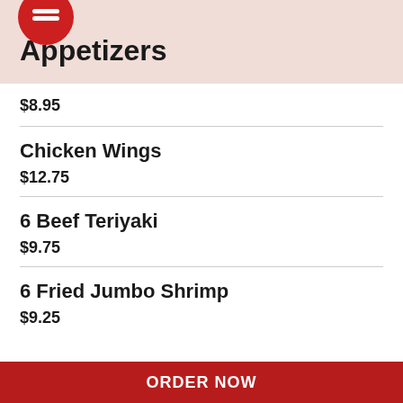[Figure (logo): Red circle icon with white horizontal lines (menu/hamburger icon)]
Appetizers
$8.95
Chicken Wings
$12.75
6 Beef Teriyaki
$9.75
6 Fried Jumbo Shrimp
$9.25
ORDER NOW